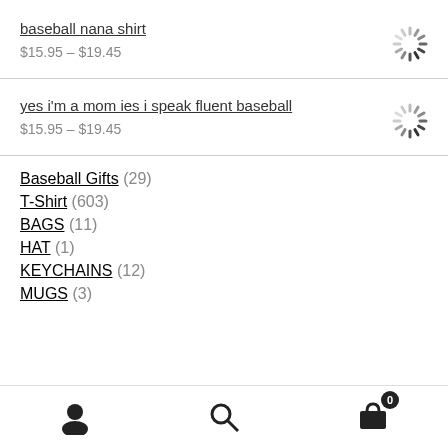baseball nana shirt $15.95 – $19.45
yes i'm a mom ies i speak fluent baseball $15.95 – $19.45
Baseball Gifts (29)
T-Shirt (603)
BAGS (11)
HAT (1)
KEYCHAINS (12)
MUGS (3)
User icon | Search icon | Cart (0)